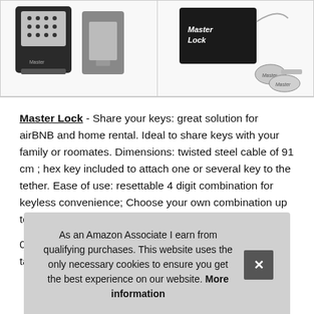[Figure (photo): Two Master Lock key safe/lockbox units shown side by side in a bordered image box (left panel).]
[Figure (photo): Master Lock key storage device with keys attached on a cable, shown in a bordered image box (right panel).]
Master Lock - Share your keys: great solution for airBNB and home rental. Ideal to share keys with your family or roomates. Dimensions: twisted steel cable of 91 cm ; hex key included to attach one or several key to the tether. Ease of use: resettable 4 digit combination for keyless convenience; Choose your own combination up to 16.
000 different possible codes. Gives easy access to care takers, very con and
As an Amazon Associate I earn from qualifying purchases. This website uses the only necessary cookies to ensure you get the best experience on our website. More information